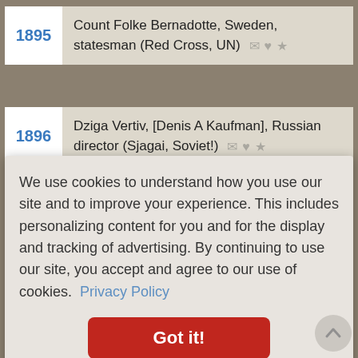1895 — Count Folke Bernadotte, Sweden, statesman (Red Cross, UN)
1896 — Dziga Vertiv, [Denis A Kaufman], Russian director (Sjagai, Soviet!)
1896 — Ernst-Lothar von Knorr, composer
We use cookies to understand how you use our site and to improve your experience. This includes personalizing content for you and for the display and tracking of advertising. By continuing to use our site, you accept and agree to our use of cookies. Privacy Policy
Got it!